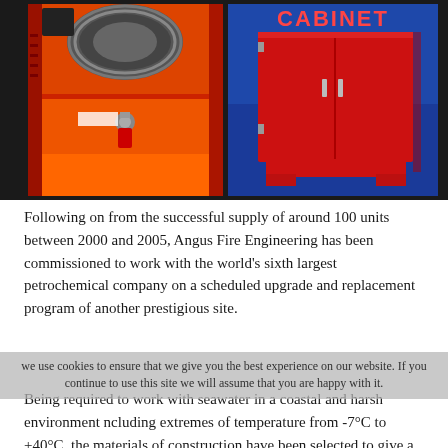[Figure (photo): Two photos side by side: left shows interior of red fire hose reel cabinet with hose and fittings; right shows exterior of red CABINET unit against blue background with 'CABINET' text label at top]
Following on from the successful supply of around 100 units between 2000 and 2005, Angus Fire Engineering has been commissioned to work with the world's sixth largest petrochemical company on a scheduled upgrade and replacement program of another prestigious site.
We use cookies to ensure that we give you the best experience on our website. If you continue to use this site we will assume that you are happy with it.
Being required to work with seawater in a coastal and harsh environment ncluding extremes of temperature from -7°C to +40°C, the materials of construction have been selected to give a maximum life span whilst ensuring